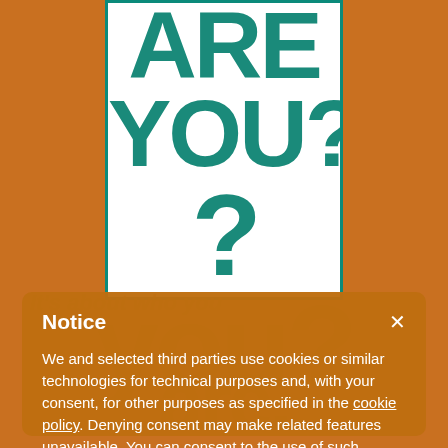[Figure (screenshot): Cookie consent notice modal overlaying a webpage. Background shows an orange/brown page with a partially visible image saying 'ARE YOU?' in teal brush-stroke font on white background. A dark semi-transparent modal dialog titled 'Notice' explains cookie usage policy with 'Accept' and 'Learn more and customize' buttons.]
Notice
We and selected third parties use cookies or similar technologies for technical purposes and, with your consent, for other purposes as specified in the cookie policy. Denying consent may make related features unavailable. You can consent to the use of such technologies by using the "Accept" button or by closing this notice.